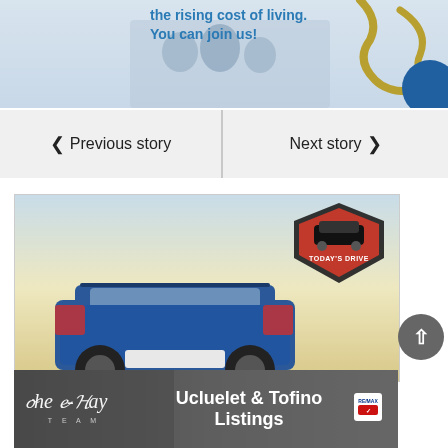[Figure (illustration): Top banner showing text about rising cost of living with decorative squiggle and silhouetted people, blue and gold colors]
the rising cost of living. You can join us!
< Previous story
Next story >
[Figure (photo): Car advertisement image showing rear view of a blue SUV/crossover against a pale sky background with 'Today's Drive' shield badge in upper right corner]
[Figure (logo): The K-Bay Team real estate banner ad with Ucluelet & Tofino Listings text and RE/MAX logo, dark background with script logo on left]